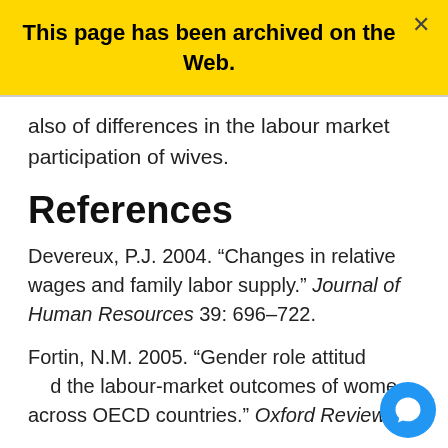This page has been archived on the Web.
also of differences in the labour market participation of wives.
References
Devereux, P.J. 2004. “Changes in relative wages and family labor supply.” Journal of Human Resources 39: 696–722.
Fortin, N.M. 2005. “Gender role attitudes and the labour-market outcomes of women across OECD countries.” Oxford Review of